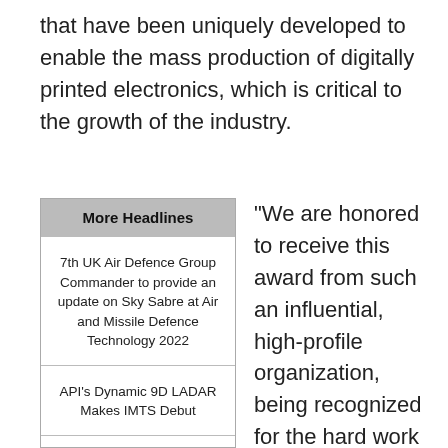that have been uniquely developed to enable the mass production of digitally printed electronics, which is critical to the growth of the industry.
More Headlines
7th UK Air Defence Group Commander to provide an update on Sky Sabre at Air and Missile Defence Technology 2022
API's Dynamic 9D LADAR Makes IMTS Debut
Formic Hires Amazon, Coco, and BeyondTrust Alums Amid Hyper-
"We are honored to receive this award from such an influential, high-profile organization, being recognized for the hard work that our team pours into developing our unique inks," said Fernando de la Vega, Ph.D., founder and CEO of PV Nano Cell. "In order for the printed